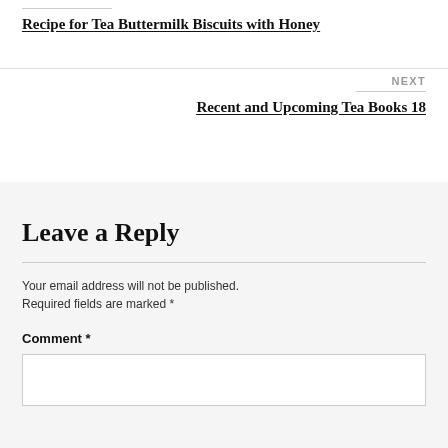Recipe for Tea Buttermilk Biscuits with Honey
NEXT
Recent and Upcoming Tea Books 18
Leave a Reply
Your email address will not be published. Required fields are marked *
Comment *